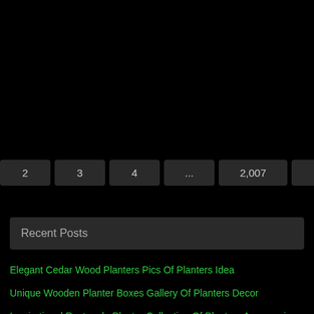[Figure (other): Large black area at top of page, likely images or content not visible]
1  2  3  4  ...  2,007  Next »
Recent Posts
Elegant Cedar Wood Planters Pics Of Planters Idea
Unique Wooden Planter Boxes Gallery Of Planters Decor
Inspirational Rectangle Planter Collection Of Planters Accessories